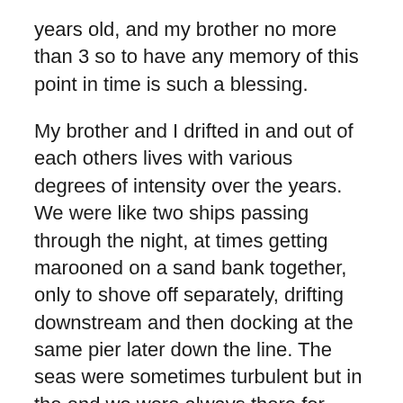years old, and my brother no more than 3 so to have any memory of this point in time is such a blessing.
My brother and I drifted in and out of each others lives with various degrees of intensity over the years. We were like two ships passing through the night, at times getting marooned on a sand bank together, only to shove off separately, drifting downstream and then docking at the same pier later down the line. The seas were sometimes turbulent but in the end we were always there for each other.
During the last year of his life, although my brother was sick, he was still a dreamer, a trait we've always shared. Right before he died he bought a previously owned black Porsche. It was his pride and joy. Shortly after he bought it, he was hospitalized with what turned out to be the final